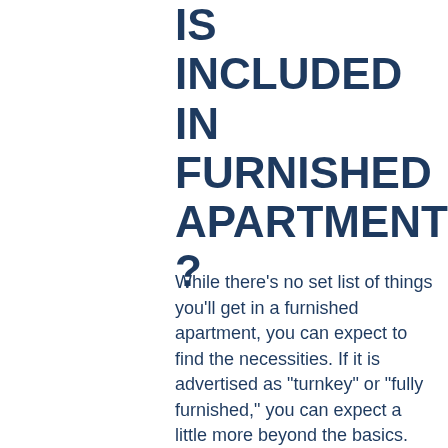IS INCLUDED IN FURNISHED APARTMENTS ?
While there’s no set list of things you’ll get in a furnished apartment, you can expect to find the necessities. If it is advertised as “turnkey” or “fully furnished,” you can expect a little more beyond the basics. For example, a furnished turnkey apartment likely includes a coffee maker, a toaster, bath towels, and bedding.
In both furnished and fully furnished apartments, you may find some supplies in your closets for cleaning...